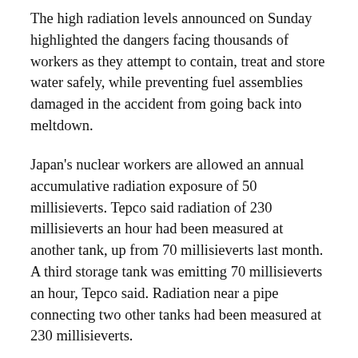The high radiation levels announced on Sunday highlighted the dangers facing thousands of workers as they attempt to contain, treat and store water safely, while preventing fuel assemblies damaged in the accident from going back into meltdown.
Japan's nuclear workers are allowed an annual accumulative radiation exposure of 50 millisieverts. Tepco said radiation of 230 millisieverts an hour had been measured at another tank, up from 70 millisieverts last month. A third storage tank was emitting 70 millisieverts an hour, Tepco said. Radiation near a pipe connecting two other tanks had been measured at 230 millisieverts.
Tepco admitted recently that only two workers had initially been assigned to check more than 1,000 storage tanks on the site. Neither of the workers carried dosimeters to measure their exposure to radiation, and some inspections...